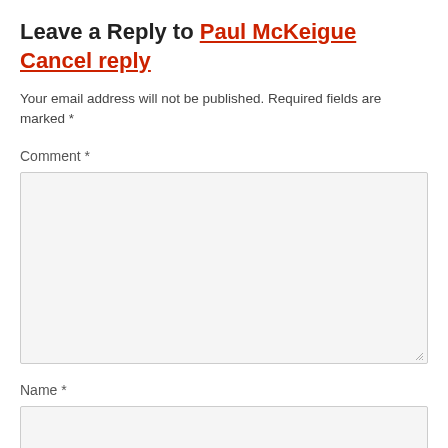Leave a Reply to Paul McKeigue Cancel reply
Your email address will not be published. Required fields are marked *
Comment *
[Figure (other): Comment textarea input field]
Name *
[Figure (other): Name text input field]